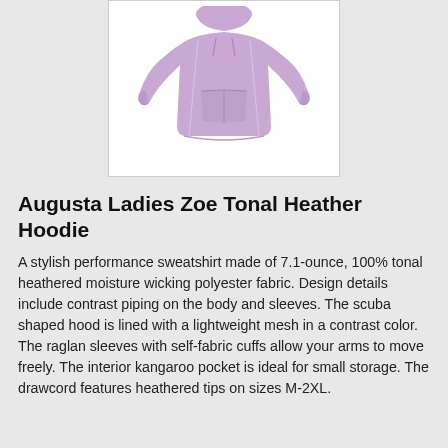[Figure (photo): Augusta Ladies Zoe Tonal Heather Hoodie product photo showing a lavender/purple heathered hoodie with kangaroo pocket and raglan sleeves, cropped to show torso and arms, on a white background.]
Augusta Ladies Zoe Tonal Heather Hoodie
A stylish performance sweatshirt made of 7.1-ounce, 100% tonal heathered moisture wicking polyester fabric. Design details include contrast piping on the body and sleeves. The scuba shaped hood is lined with a lightweight mesh in a contrast color. The raglan sleeves with self-fabric cuffs allow your arms to move freely. The interior kangaroo pocket is ideal for small storage. The drawcord features heathered tips on sizes M-2XL.